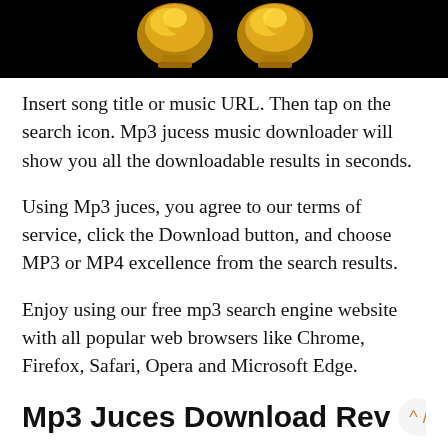[Figure (photo): Black background with two golden trophy or mask shapes side by side]
Insert song title or music URL. Then tap on the search icon. Mp3 jucess music downloader will show you all the downloadable results in seconds.
Using Mp3 juces, you agree to our terms of service, click the Download button, and choose MP3 or MP4 excellence from the search results.
Enjoy using our free mp3 search engine website with all popular web browsers like Chrome, Firefox, Safari, Opera and Microsoft Edge.
Mp3 Juces Download Rev
MP3 Juces used to be an excellent MP3 downloader app, but now it's useless. Too many popups hijack the